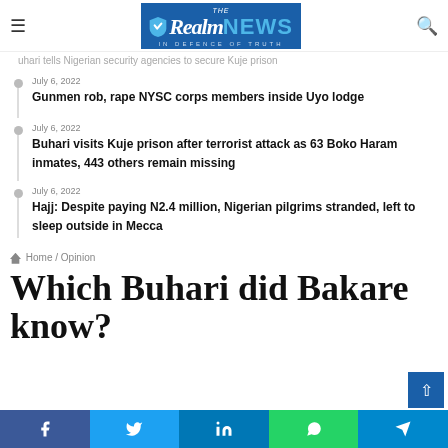The RealmNews — IN DEFENCE OF TRUTH
uhari tells Nigerian security agencies to secure Kuje prison
July 6, 2022 — Gunmen rob, rape NYSC corps members inside Uyo lodge
July 6, 2022 — Buhari visits Kuje prison after terrorist attack as 63 Boko Haram inmates, 443 others remain missing
July 6, 2022 — Hajj: Despite paying N2.4 million, Nigerian pilgrims stranded, left to sleep outside in Mecca
Home / Opinion
Which Buhari did Bakare know?